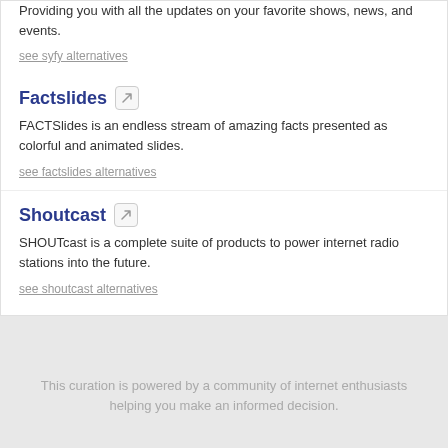Providing you with all the updates on your favorite shows, news, and events.
see syfy alternatives
Factslides
FACTSlides is an endless stream of amazing facts presented as colorful and animated slides.
see factslides alternatives
Shoutcast
SHOUTcast is a complete suite of products to power internet radio stations into the future.
see shoutcast alternatives
This curation is powered by a community of internet enthusiasts helping you make an informed decision.